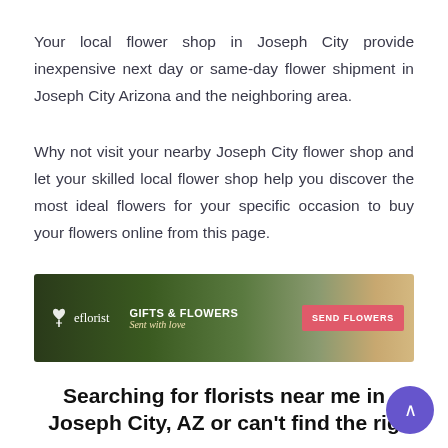Your local flower shop in Joseph City provide inexpensive next day or same-day flower shipment in Joseph City Arizona and the neighboring area.
Why not visit your nearby Joseph City flower shop and let your skilled local flower shop help you discover the most ideal flowers for your specific occasion to buy your flowers online from this page.
[Figure (illustration): eflorist advertisement banner showing gifts & flowers with 'Sent with love' tagline and a pink Send Flowers button, with image of woman holding flowers in background]
Searching for florists near me in Joseph City, AZ or can't find the right florist in Joseph City, AZ? Have a look